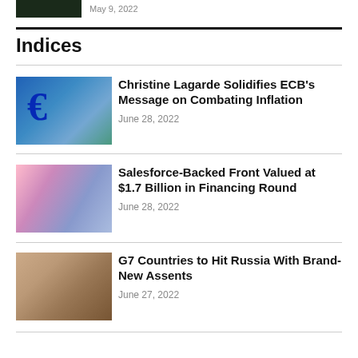[Figure (photo): Dark thumbnail image at top]
May 9, 2022
Indices
[Figure (photo): ECB building with Euro sign]
Christine Lagarde Solidifies ECB's Message on Combating Inflation
June 28, 2022
[Figure (photo): Hands typing on laptop keyboard]
Salesforce-Backed Front Valued at $1.7 Billion in Financing Round
June 28, 2022
[Figure (photo): G7 summit meeting room]
G7 Countries to Hit Russia With Brand-New Assents
June 27, 2022